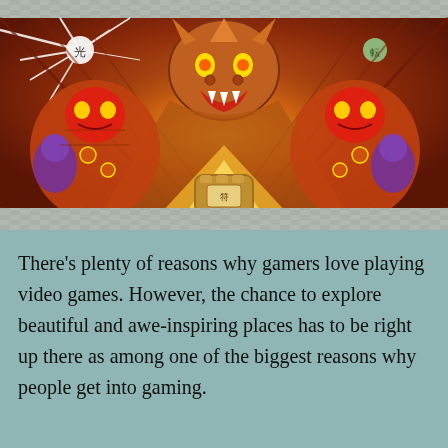[Figure (screenshot): A video game screenshot showing a large demonic boss creature with an open mouth and glowing eyes, flanked by two samurai-like demonic figures, set in a red-toned environment with Japanese artistic style. The scene appears to be from the game Okami.]
There's plenty of reasons why gamers love playing video games. However, the chance to explore beautiful and awe-inspiring places has to be right up there as among one of the biggest reasons why people get into gaming.